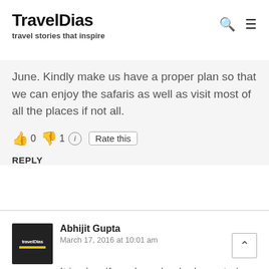TravelDias — travel stories that inspire
June. Kindly make us have a proper plan so that we can enjoy the safaris as well as visit most of all the places if not all.
👍 0 👎 1 ℹ Rate this
REPLY
Abhijit Gupta
March 17, 2016 at 10:01 am
It is okay if you have booked your train up to New Mal Junction but if you are planning to vis Lolegaon, Rishyap, Delo, etc. the nearest station is NJP. New Mal Junction is far away. So if